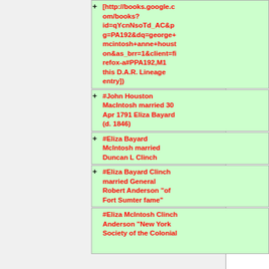[http://books.google.com/books?id=qYcnNsoTd_AC&pg=PA192&dq=george+mcintosh+anne+houston&as_brr=1&client=firefox-a#PPA192,M1 this D.A.R. Lineage entry])
#John Houston MacIntosh married 30 Apr 1791 Eliza Bayard (d. 1846)
#Eliza Bayard McIntosh married Duncan L Clinch
#Eliza Bayard Clinch married General Robert Anderson "of Fort Sumter fame"
#Eliza McIntosh Clinch Anderson "New York Society of the Colonial